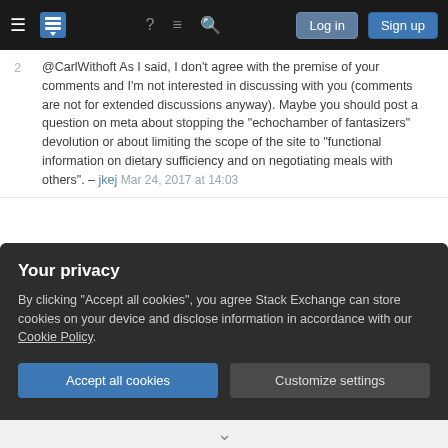Stack Exchange navigation bar with hamburger menu, logo, help, chat, search icons, Log in and Sign up buttons
2 @CarlWithoft As I said, I don't agree with the premise of your comments and I'm not interested in discussing with you (comments are not for extended discussions anyway). Maybe you should post a question on meta about stopping the "echochamber of fantasizers" devolution or about limiting the scope of the site to "functional information on dietary sufficiency and on negotiating meals with others". – jkej Mar 24, 2017 at 14:03
2 This has gotten increasingly tangential from the answer, so please continue the discussion in Veganism & Vegetarianism Chat or Veganism & Vegetarianism Meta. – Erica Mar 24, 2017 at 18:31
Your privacy
By clicking "Accept all cookies", you agree Stack Exchange can store cookies on your device and disclose information in accordance with our Cookie Policy.
Accept all cookies | Customize settings